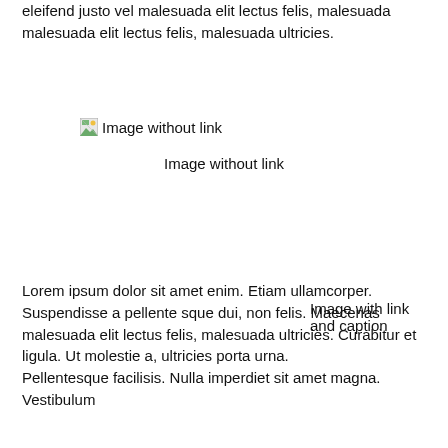eleifend justo vel malesuada elit lectus felis, malesuada malesuada elit lectus felis, malesuada ultricies.
[Figure (illustration): Broken image placeholder with text 'Image without link']
Image without link
Lorem ipsum dolor sit amet enim. Etiam ullamcorper. Suspendisse a pellente sque dui, non felis. Maecenas malesuada elit lectus felis, malesuada ultricies. Curabitur et ligula. Ut molestie a, ultricies porta urna. Pellentesque facilisis. Nulla imperdiet sit amet magna. Vestibulum
Image with link and caption